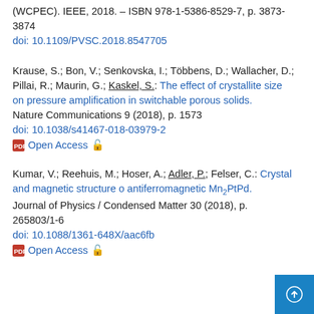(WCPEC). IEEE, 2018. - ISBN 978-1-5386-8529-7, p. 3873-3874
doi: 10.1109/PVSC.2018.8547705
Krause, S.; Bon, V.; Senkovska, I.; Többens, D.; Wallacher, D.; Pillai, R.; Maurin, G.; Kaskel, S.: The effect of crystallite size on pressure amplification in switchable porous solids. Nature Communications 9 (2018), p. 1573
doi: 10.1038/s41467-018-03979-2
Open Access
Kumar, V.; Reehuis, M.; Hoser, A.; Adler, P.; Felser, C.: Crystal and magnetic structure o antiferromagnetic Mn₂PtPd. Journal of Physics / Condensed Matter 30 (2018), p. 265803/1-6
doi: 10.1088/1361-648X/aac6fb
Open Access